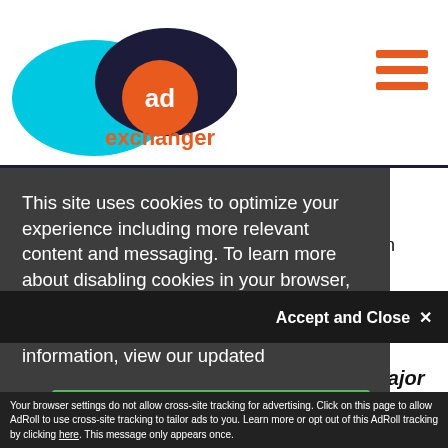[Figure (logo): AdExchanger logo with cyan and dark blue oval shapes overlapping, orange circle with 'ad' text, and 'exchanger' text in orange]
[Figure (other): Hamburger menu icon with three orange horizontal bars]
This site uses cookies to optimize your experience including more relevant content and messaging. To learn more about disabling cookies in your browser, click here.  By continuing to use this site, you accept our use of cookies. For more information, view our updated Privacy Policy.
Accept and Close ✕
Your browser settings do not allow cross-site tracking for advertising. Click on this page to allow AdRoll to use cross-site tracking to tailor ads to you. Learn more or opt out of this AdRoll tracking by clicking here. This message only appears once.
One macro change occurring at most major